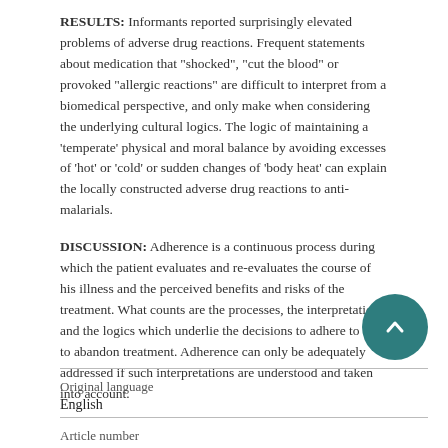RESULTS: Informants reported surprisingly elevated problems of adverse drug reactions. Frequent statements about medication that "shocked", "cut the blood" or provoked "allergic reactions" are difficult to interpret from a biomedical perspective, and only make when considering the underlying cultural logics. The logic of maintaining a 'temperate' physical and moral balance by avoiding excesses of 'hot' or 'cold' or sudden changes of 'body heat' can explain the locally constructed adverse drug reactions to anti-malarials.
DISCUSSION: Adherence is a continuous process during which the patient evaluates and re-evaluates the course of his illness and the perceived benefits and risks of the treatment. What counts are the processes, the interpretations and the logics which underlie the decisions to adhere to or to abandon treatment. Adherence can only be adequately addressed if such interpretations are understood and taken into account.
| Field | Value |
| --- | --- |
| Original language | English |
| Article number |  |